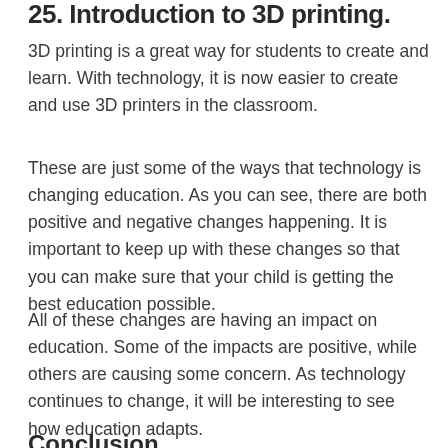...Introduction to 3D printing.
3D printing is a great way for students to create and learn. With technology, it is now easier to create and use 3D printers in the classroom.
These are just some of the ways that technology is changing education. As you can see, there are both positive and negative changes happening. It is important to keep up with these changes so that you can make sure that your child is getting the best education possible.
All of these changes are having an impact on education. Some of the impacts are positive, while others are causing some concern. As technology continues to change, it will be interesting to see how education adapts.
Conclusion